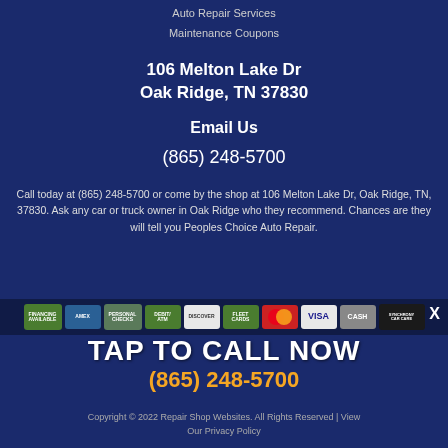Auto Repair Services
Maintenance Coupons
106 Melton Lake Dr
Oak Ridge, TN 37830
Email Us
(865) 248-5700
Call today at (865) 248-5700 or come by the shop at 106 Melton Lake Dr, Oak Ridge, TN, 37830. Ask any car or truck owner in Oak Ridge who they recommend. Chances are they will tell you Peoples Choice Auto Repair.
[Figure (infographic): Payment method icons: Financing Available, American Express, Personal Checks, Debit/ATM, Discover, Fleet Cards, MasterCard, Visa, Cash, Synchrony Car Care]
TAP TO CALL NOW
(865) 248-5700
Copyright © 2022 Repair Shop Websites. All Rights Reserved | View Our Privacy Policy